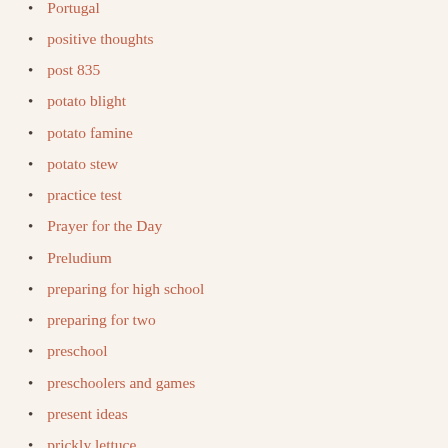Portugal
positive thoughts
post 835
potato blight
potato famine
potato stew
practice test
Prayer for the Day
Preludium
preparing for high school
preparing for two
preschool
preschoolers and games
present ideas
prickly lettuce
Pride and Prejudice
Prince Albert
Prince Caspian